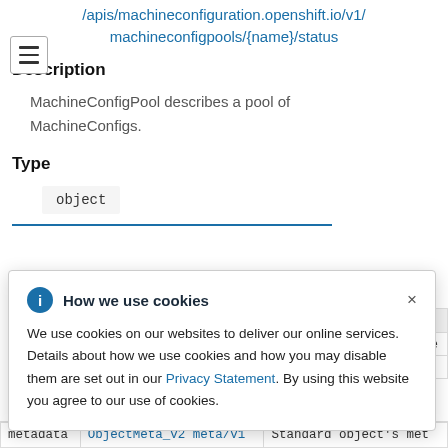/apis/machineconfiguration.openshift.io/v1/machineconfigpools/{name}/status
Description
MachineConfigPool describes a pool of MachineConfigs.
Type
object
[Figure (screenshot): Cookie consent modal popup with 'How we use cookies' heading, info icon, close button (×), and body text about cookie usage with a Privacy Statement link.]
|  |  | ription |
| --- | --- | --- |
| metadata | ObjectMeta_v2 meta/v1 | Standard object's met |